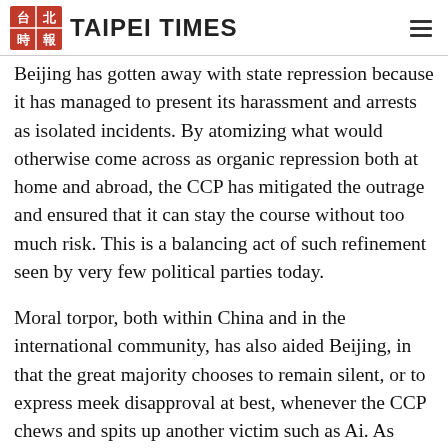TAIPEI TIMES
Beijing has gotten away with state repression because it has managed to present its harassment and arrests as isolated incidents. By atomizing what would otherwise come across as organic repression both at home and abroad, the CCP has mitigated the outrage and ensured that it can stay the course without too much risk. This is a balancing act of such refinement seen by very few political parties today.
Moral torpor, both within China and in the international community, has also aided Beijing, in that the great majority chooses to remain silent, or to express meek disapproval at best, whenever the CCP chews and spits up another victim such as Ai. As there have been no serious consequences for Beijing by doing so, there is no reason why it should adopt a new course and perhaps even soften its stance on dissent. In other words, out of